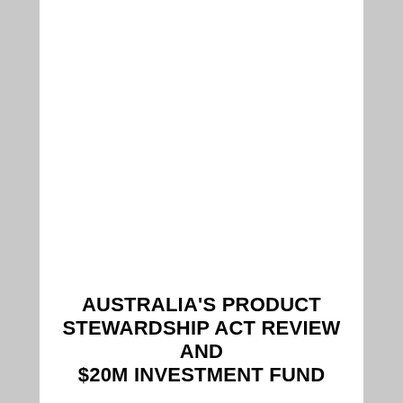AUSTRALIA'S PRODUCT STEWARDSHIP ACT REVIEW AND $20M INVESTMENT FUND